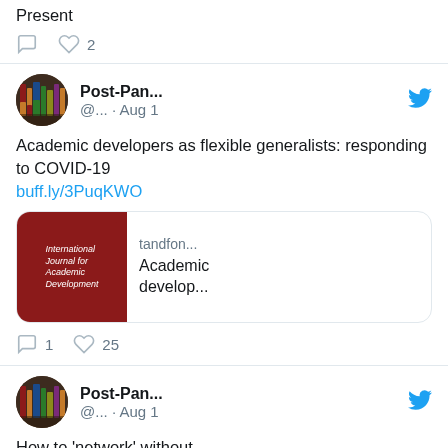Present
2 likes
Post-Pan... @... · Aug 1
Academic developers as flexible generalists: responding to COVID-19 buff.ly/3PuqKWO
[Figure (screenshot): Link card showing International Journal for Academic Development cover (red) with tandfon... domain and 'Academic develop...' title]
1 reply, 25 likes
Post-Pan... @... · Aug 1
How to 'network' without